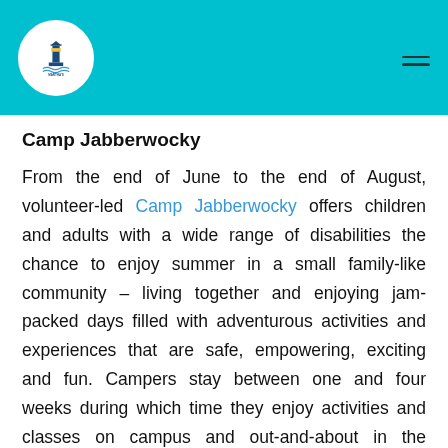Martha's Vineyard [logo] [hamburger menu]
Camp Jabberwocky
From the end of June to the end of August, volunteer-led Camp Jabberwocky offers children and adults with a wide range of disabilities the chance to enjoy summer in a small family-like community – living together and enjoying jam-packed days filled with adventurous activities and experiences that are safe, empowering, exciting and fun. Campers stay between one and four weeks during which time they enjoy activities and classes on campus and out-and-about in the community of Martha's Vineyard. According to Camp Jabberwocky no one has ever been turned away for an inability to pay – and it costs the camp in excess of $1,450 per week to provide programming for